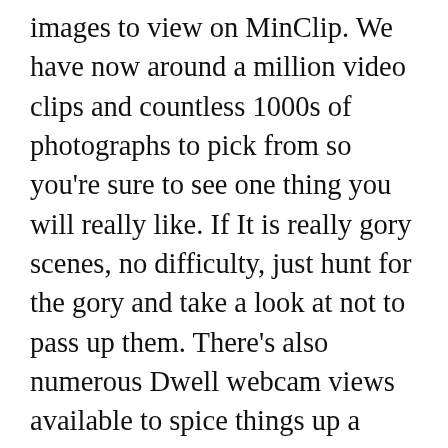images to view on MinClip. We have now around a million video clips and countless 1000s of photographs to pick from so you're sure to see one thing you will really like. If It is really gory scenes, no difficulty, just hunt for the gory and take a look at not to pass up them. There's also numerous Dwell webcam views available to spice things up a little.
The right point about MinClip is that each one their videos are processed by us. This ensures the best quality and probably the most vivid photo. The photographs are typically High definition and come in the